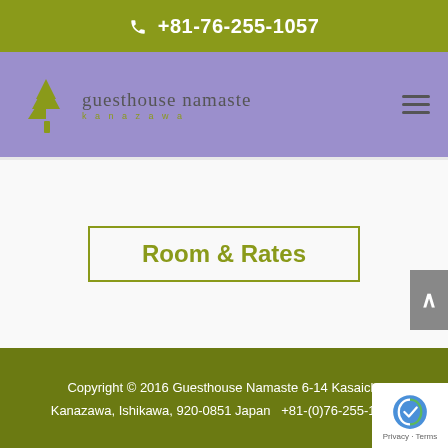📞 +81-76-255-1057
[Figure (logo): Guesthouse Namaste Kanazawa logo with stylized house/tree icon and text 'guesthouse namaste kanazawa']
Room & Rates
Copyright © 2016 Guesthouse Namaste 6-14 Kasaichi Kanazawa, Ishikawa, 920-0851 Japan  +81-(0)76-255-1057